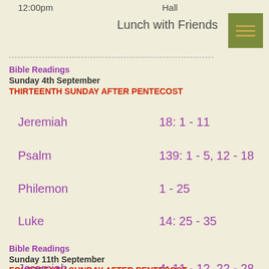12:00pm
Hall
Lunch with Friends
Bible Readings
Sunday 4th September
THIRTEENTH SUNDAY AFTER PENTECOST
Jeremiah    18: 1 - 11
Psalm    139: 1 - 5, 12 - 18
Philemon    1 - 25
Luke    14: 25 - 35
Bible Readings
Sunday 11th September
FOURTEENTH SUNDAY AFTER PENTECOST
Jeremiah    4: 11 - 12, 22 - 28